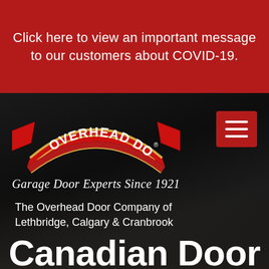Click here to view an important message to our customers about COVID-19.
[Figure (logo): Overhead Door red ribbon banner logo with OVERHEAD DOOR text in white on red arched ribbon with gold trim]
Garage Door Experts Since 1921
The Overhead Door Company of Lethbridge, Calgary & Cranbrook
Canadian Door